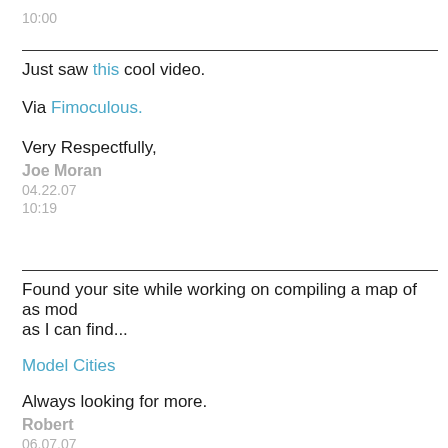10:00
Just saw this cool video.

Via Fimoculous.

Very Respectfully,
Joe Moran
04.22.07
10:19
Found your site while working on compiling a map of as mod as I can find...

Model Cities

Always looking for more.
Robert
06.07.07
09:45